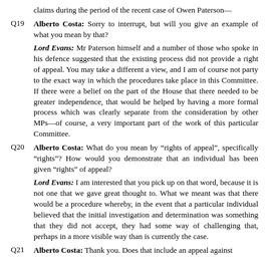claims during the period of the recent case of Owen Paterson—
Q19  Alberto Costa: Sorry to interrupt, but will you give an example of what you mean by that?
Lord Evans: Mr Paterson himself and a number of those who spoke in his defence suggested that the existing process did not provide a right of appeal. You may take a different a view, and I am of course not party to the exact way in which the procedures take place in this Committee. If there were a belief on the part of the House that there needed to be greater independence, that would be helped by having a more formal process which was clearly separate from the consideration by other MPs—of course, a very important part of the work of this particular Committee.
Q20  Alberto Costa: What do you mean by "rights of appeal", specifically "rights"? How would you demonstrate that an individual has been given "rights" of appeal?
Lord Evans: I am interested that you pick up on that word, because it is not one that we gave great thought to. What we meant was that there would be a procedure whereby, in the event that a particular individual believed that the initial investigation and determination was something that they did not accept, they had some way of challenging that, perhaps in a more visible way than is currently the case.
Q21  Alberto Costa: Thank you. Does that include an appeal against